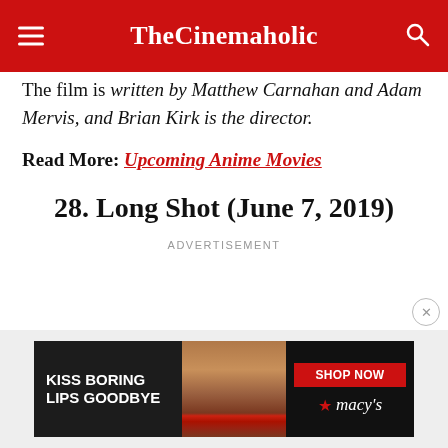TheCinemaholic
The film is written by Matthew Carnahan and Adam Mervis, and Brian Kirk is the director.
Read More: Upcoming Anime Movies
28. Long Shot (June 7, 2019)
ADVERTISEMENT
[Figure (photo): Macy's advertisement banner: 'Kiss Boring Lips Goodbye' with a photo of a woman with red lips and a 'Shop Now' button and Macy's logo.]